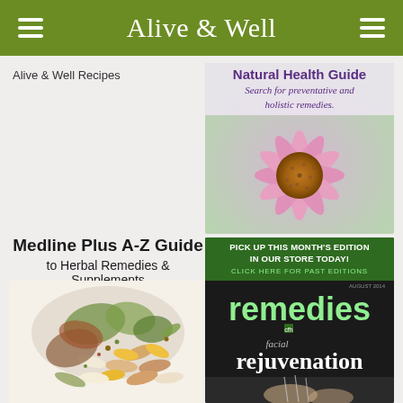Alive & Well
Alive & Well Recipes
[Figure (photo): Natural Health Guide promotional card with pink echinacea flower. Text reads: Natural Health Guide - Search for preventative and holistic remedies.]
Medline Plus A-Z Guide to Herbal Remedies & Supplements
[Figure (photo): Assorted herbal supplements, capsules, and dried herbs arranged in a pile.]
[Figure (photo): Remedies magazine cover. Header: PICK UP THIS MONTH'S EDITION IN OUR STORE TODAY! CLICK HERE FOR PAST EDITIONS. Title: remedies. Subtitle: facial rejuvenation.]